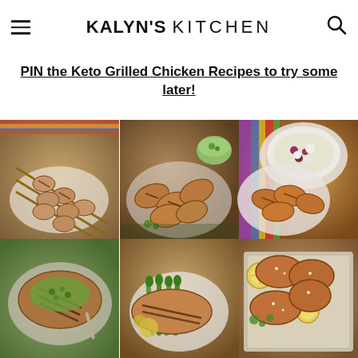KALYN'S KITCHEN
PIN the Keto Grilled Chicken Recipes to try some later!
[Figure (photo): 3x2 grid of food photos showing various keto grilled chicken recipes: skewers, marinated wings, spiced chicken breasts, chimichurri chicken, chicken with asparagus, and herb-dusted chicken thighs]